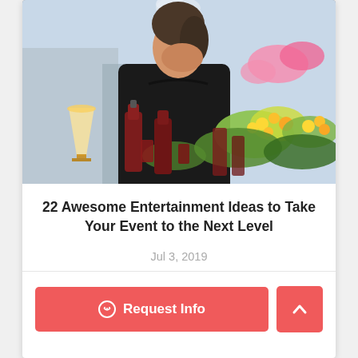[Figure (photo): A man in a black shirt tilting his head back outdoors, with yellow and pink flowers and bar-top bottles and glasses in the foreground]
22 Awesome Entertainment Ideas to Take Your Event to the Next Level
Jul 3, 2019
Request Info